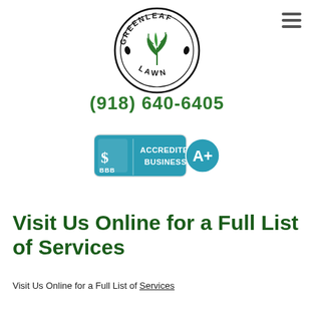[Figure (logo): Greenleaf Lawn circular logo with plant illustration and text GREENLEAF LAWN around the border]
(918) 640-6405
[Figure (logo): BBB Accredited Business badge with A+ rating in teal/blue colors]
Visit Us Online for a Full List of Services
Visit Us Online for a Full List of Services